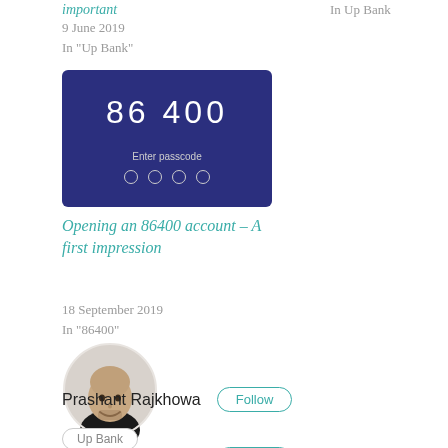important
9 June 2019
In "Up Bank"
In  Up Bank
[Figure (screenshot): Mobile app screenshot showing 86400 app with Enter passcode screen and four empty dot indicators on a dark blue background]
Opening an 86400 account – A first impression
18 September 2019
In "86400"
[Figure (photo): Circular profile photo of Prashant Rajkhowa, a bald man with a beard wearing a black shirt, smiling]
Prashant Rajkhowa
Follow
Up Bank